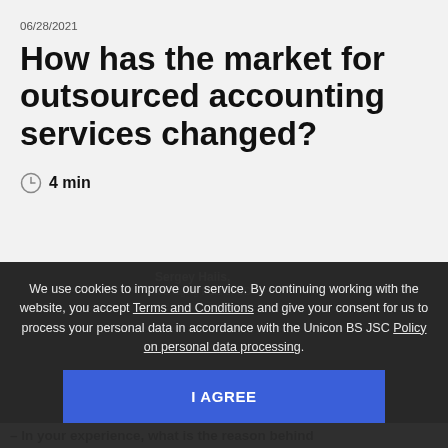06/28/2021
How has the market for outsourced accounting services changed?
4 min
We use cookies to improve our service. By continuing working with the website, you accept Terms and Conditions and give your consent for us to process your personal data in accordance with the Unicon BS JSC Policy on personal data processing.
I AGREE
Sergey Haiis,
Managing Partner BDO
– In your experience, what is the reason behind